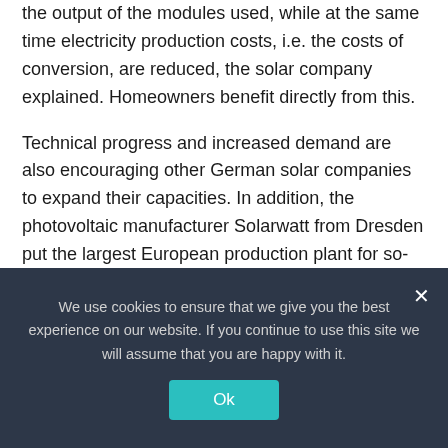the output of the modules used, while at the same time electricity production costs, i.e. the costs of conversion, are reduced, the solar company explained. Homeowners benefit directly from this.
Technical progress and increased demand are also encouraging other German solar companies to expand their capacities. In addition, the photovoltaic manufacturer Solarwatt from Dresden put the largest European production plant for so-called glass-glass solar modules into operation last September.
read too
We use cookies to ensure that we give you the best experience on our website. If you continue to use this site we will assume that you are happy with it.